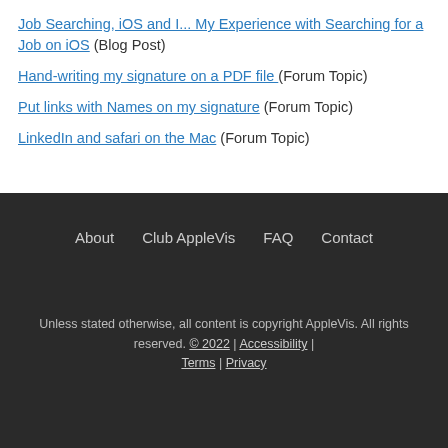Job Searching, iOS and I... My Experience with Searching for a Job on iOS (Blog Post)
Hand-writing my signature on a PDF file (Forum Topic)
Put links with Names on my signature (Forum Topic)
LinkedIn and safari on the Mac (Forum Topic)
About   Club AppleVis   FAQ   Contact

Unless stated otherwise, all content is copyright AppleVis. All rights reserved. © 2022 | Accessibility | Terms | Privacy